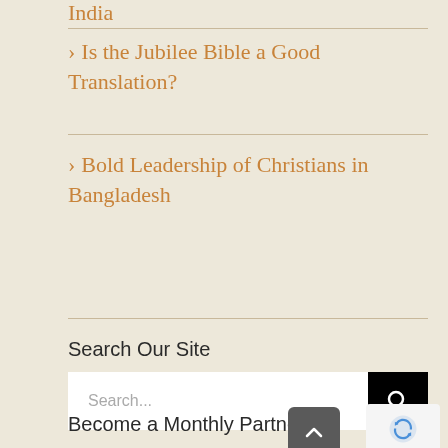India
> Is the Jubilee Bible a Good Translation?
> Bold Leadership of Christians in Bangladesh
Search Our Site
Search...
Become a Monthly Partner